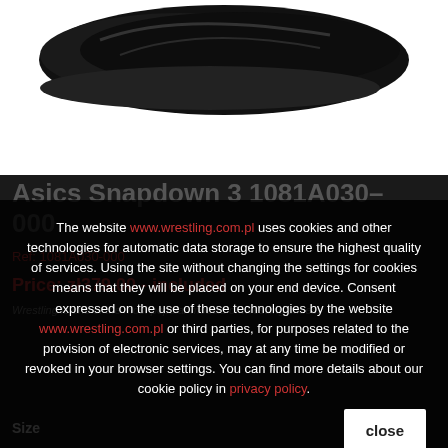[Figure (photo): Black Asics Snapdown 3 wrestling shoe partially visible at top of page, dark background section below]
Asics Snapdown 3 1081A030-000
Ref: 1081A030-000
Price: zł379.00 - included
Wrestling is one of the most popular models of wrestling shoes.
Size
The website www.wrestling.com.pl uses cookies and other technologies for automatic data storage to ensure the highest quality of services. Using the site without changing the settings for cookies means that they will be placed on your end device. Consent expressed on the use of these technologies by the website www.wrestling.com.pl or third parties, for purposes related to the provision of electronic services, may at any time be modified or revoked in your browser settings. You can find more details about our cookie policy in privacy policy.